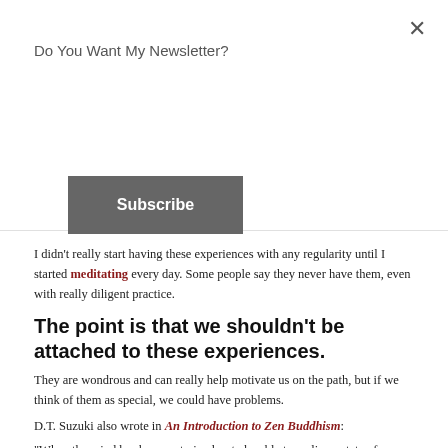Do You Want My Newsletter?
Subscribe
I didn't really start having these experiences with any regularity until I started meditating every day. Some people say they never have them, even with really diligent practice.
The point is that we shouldn't be attached to these experiences.
They are wondrous and can really help motivate us on the path, but if we think of them as special, we could have problems.
D.T. Suzuki also wrote in An Introduction to Zen Buddhism:
“When the mind has been so trained as to be able to realize a state of perfect void in which there is not a trace of consciousness left, even the sense of being unconscious having departed; in other words, when all forms of mental activity are swept away clean from the field of